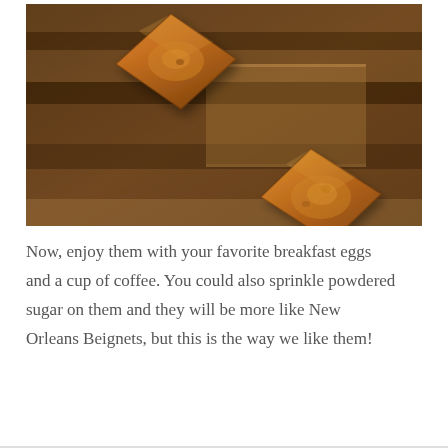[Figure (photo): Overhead photo of two golden-brown beignets (pillow-shaped fried pastries) on a dark wooden striped surface, lit with warm orange tones.]
Now, enjoy them with your favorite breakfast eggs and a cup of coffee. You could also sprinkle powdered sugar on them and they will be more like New Orleans Beignets, but this is the way we like them!